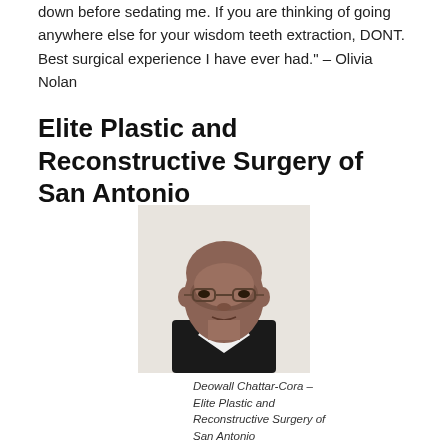down before sedating me. If you are thinking of going anywhere else for your wisdom teeth extraction, DONT. Best surgical experience I have ever had." – Olivia Nolan
Elite Plastic and Reconstructive Surgery of San Antonio
[Figure (photo): Professional headshot of Deowall Chattar-Cora, a bald man wearing glasses and a dark blazer with white shirt, against a white background.]
Deowall Chattar-Cora – Elite Plastic and Reconstructive Surgery of San Antonio